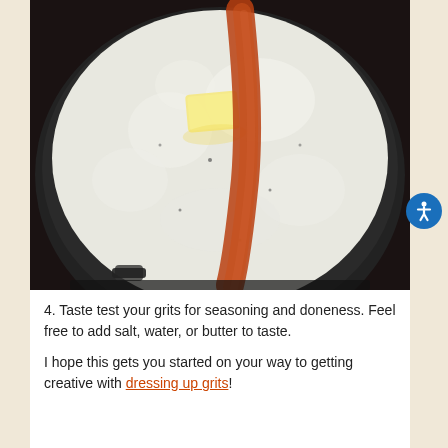[Figure (photo): Top-down view of a pot of grits cooking on a stove, with a pat of butter on the left side and a stripe of red spice (likely cayenne or paprika) running down the center of the bubbling white grits.]
4. Taste test your grits for seasoning and doneness. Feel free to add salt, water, or butter to taste.
I hope this gets you started on your way to getting creative with dressing up grits!